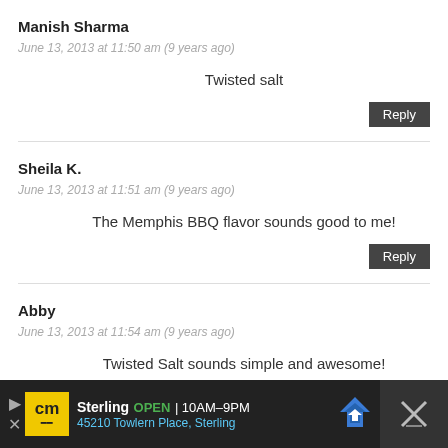Manish Sharma
June 13, 2013 at 11:50 am (9 years ago)
Twisted salt
Reply
Sheila K.
June 13, 2013 at 11:51 am (9 years ago)
The Memphis BBQ flavor sounds good to me!
Reply
Abby
June 13, 2013 at 11:54 am (9 years ago)
Twisted Salt sounds simple and awesome!
[Figure (other): Advertisement bar at bottom: CM logo in yellow, Sterling store open 10AM-9PM, 45210 Towlern Place Sterling, navigation arrow icon, and close X icon on dark background]